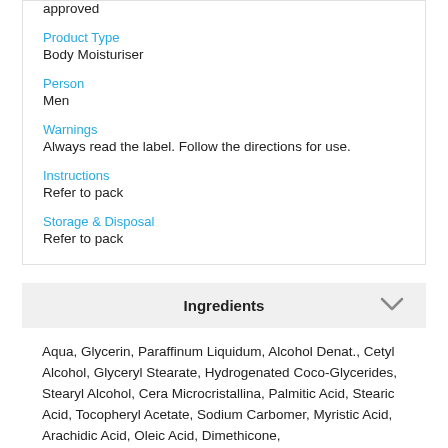approved
Product Type
Body Moisturiser
Person
Men
Warnings
Always read the label. Follow the directions for use.
Instructions
Refer to pack
Storage & Disposal
Refer to pack
Ingredients
Aqua, Glycerin, Paraffinum Liquidum, Alcohol Denat., Cetyl Alcohol, Glyceryl Stearate, Hydrogenated Coco-Glycerides, Stearyl Alcohol, Cera Microcristallina, Palmitic Acid, Stearic Acid, Tocopheryl Acetate, Sodium Carbomer, Myristic Acid, Arachidic Acid, Oleic Acid, Dimethicone,